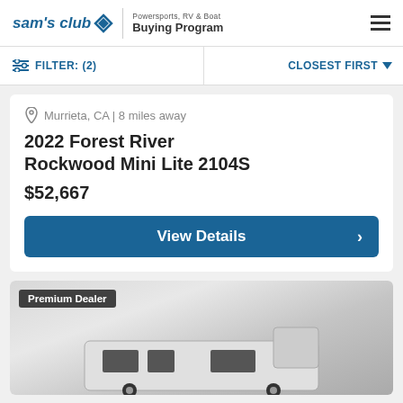sam's club — Powersports, RV & Boat Buying Program
FILTER: (2)
CLOSEST FIRST
Murrieta, CA | 8 miles away
2022 Forest River Rockwood Mini Lite 2104S
$52,667
View Details
Premium Dealer